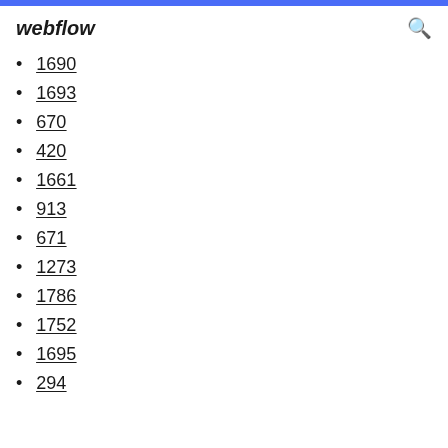webflow
1690
1693
670
420
1661
913
671
1273
1786
1752
1695
294